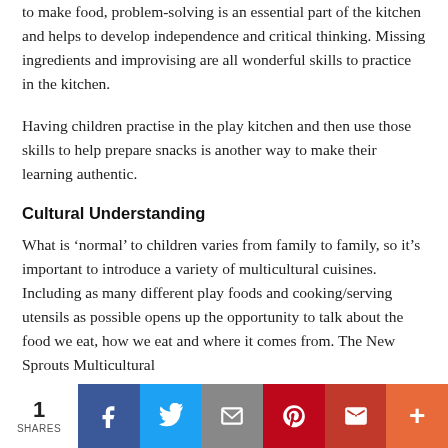to make food, problem-solving is an essential part of the kitchen and helps to develop independence and critical thinking. Missing ingredients and improvising are all wonderful skills to practice in the kitchen.
Having children practise in the play kitchen and then use those skills to help prepare snacks is another way to make their learning authentic.
Cultural Understanding
What is ‘normal’ to children varies from family to family, so it’s important to introduce a variety of multicultural cuisines. Including as many different play foods and cooking/serving utensils as possible opens up the opportunity to talk about the food we eat, how we eat and where it comes from. The New Sprouts Multicultural